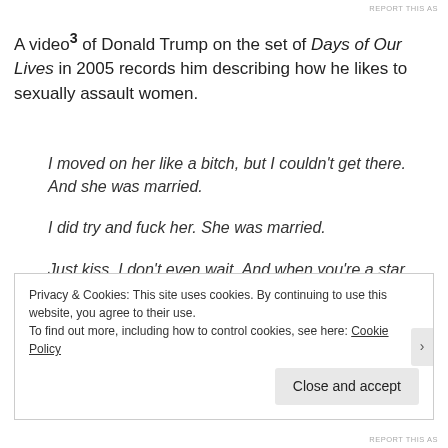REPORT THIS AS
A video³ of Donald Trump on the set of Days of Our Lives in 2005 records him describing how he likes to sexually assault women.
I moved on her like a bitch, but I couldn't get there. And she was married.
I did try and fuck her. She was married.
Just kiss. I don't even wait. And when you're a star, they let you do it. You can do anything.
Privacy & Cookies: This site uses cookies. By continuing to use this website, you agree to their use.
To find out more, including how to control cookies, see here: Cookie Policy
REPORT THIS AS